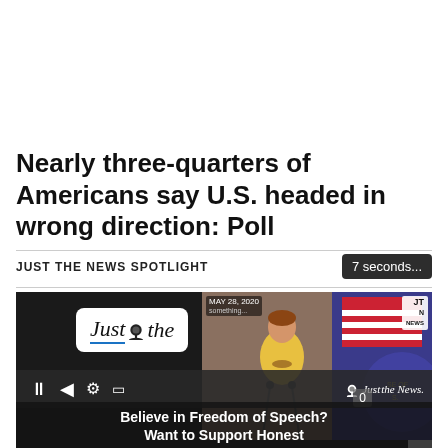Nearly three-quarters of Americans say U.S. headed in wrong direction: Poll
JUST THE NEWS SPOTLIGHT
7 seconds...
[Figure (screenshot): Video player showing a Just the News spotlight segment. Left side shows the Just the News logo on dark background. Right side shows an overlay video of a woman in yellow speaking at a podium with US flags. Bottom bar shows video controls and subtitle text: 'Believe in Freedom of Speech? Want to Support Honest']